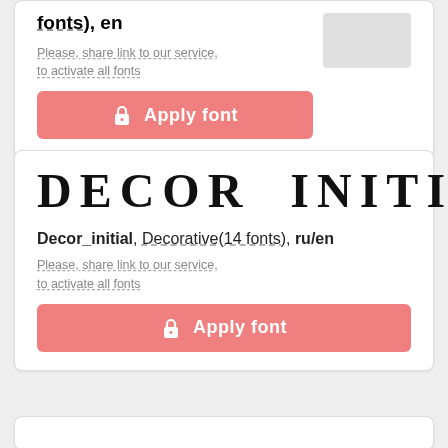fonts), en
Please, share link to our service, to activate all fonts
Apply font
[Figure (illustration): Preview box showing font sample, grayed out]
DECOR INITIAL
Decor_initial, Decorative(14 fonts), ru/en
Please, share link to our service, to activate all fonts
Apply font